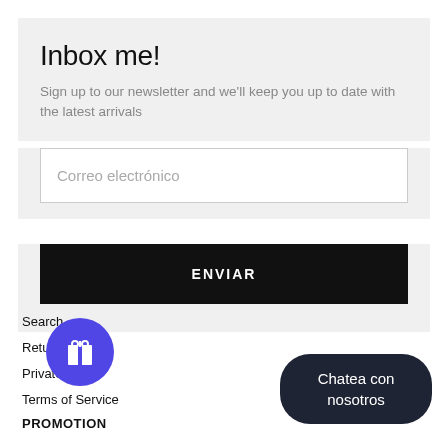Inbox me!
Sign up to our newsletter and we'll keep you up to date with the latest arrivals
Correo electrónico
ENVIAR
Search
Returns
Private Policy
Terms of Service
PROMOTION
AMBASSADOR LOG IN
Chatea con nosotros